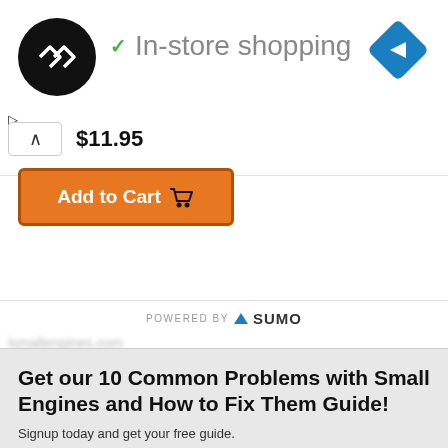[Figure (logo): Black circular logo with double arrow/infinity symbol in white]
✓ In-store shopping
[Figure (logo): Blue diamond navigation/directions icon with white arrow]
$11.95
[Figure (other): Orange Add to Cart button with shopping cart icon]
POWERED BY SUMO
Get our 10 Common Problems with Small Engines and How to Fix Them Guide!
Signup today and get your free guide.
Enter your Email
Subscribe Now